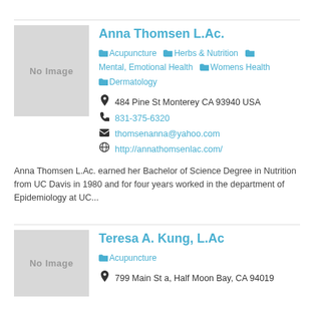Anna Thomsen L.Ac.
Acupuncture  Herbs & Nutrition  Mental, Emotional Health  Womens Health  Dermatology
484 Pine St Monterey CA 93940 USA
831-375-6320
thomsenanna@yahoo.com
http://annathomsenlac.com/
Anna Thomsen L.Ac. earned her Bachelor of Science Degree in Nutrition from UC Davis in 1980 and for four years worked in the department of Epidemiology at UC...
Teresa A. Kung, L.Ac
Acupuncture
799 Main St a, Half Moon Bay, CA 94019